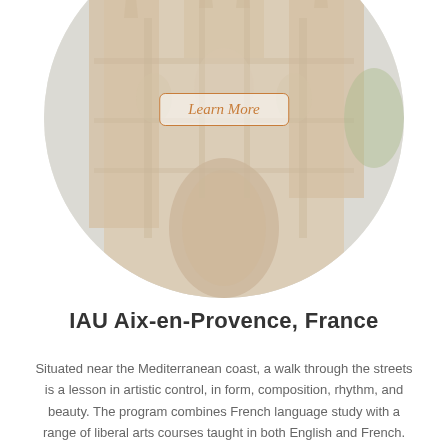[Figure (photo): Circular cropped photograph of a Gothic cathedral building in Aix-en-Provence, France, with stone facade and blue sky, shown with a faded/washed out appearance. A 'Learn More' button overlay is centered on the image.]
IAU Aix-en-Provence, France
Situated near the Mediterranean coast, a walk through the streets is a lesson in artistic control, in form, composition, rhythm, and beauty. The program combines French language study with a range of liberal arts courses taught in both English and French.